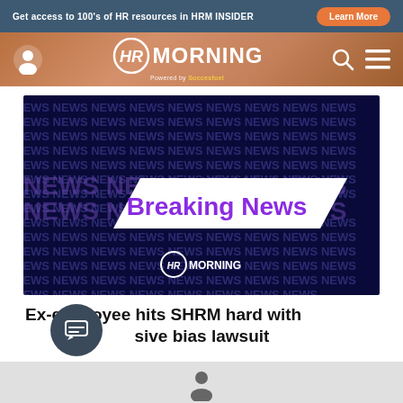Get access to 100's of HR resources in HRM INSIDER | Learn More
[Figure (logo): HR Morning logo with user icon, search and menu icons on copper/terracotta gradient navigation bar]
[Figure (photo): Breaking News graphic on dark navy background with repeated NEWS text pattern, white diagonal banner with purple bold 'Breaking News' text, HRMorning logo at bottom]
Ex-employee hits SHRM hard with massive bias lawsuit